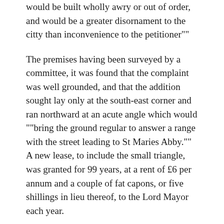would be built wholly awry or out of order, and would be a greater disornament to the citty than inconvenience to the petitioner""
The premises having been surveyed by a committee, it was found that the complaint was well grounded, and that the addition sought lay only at the south-east corner and ran northward at an acute angle which would ""bring the ground regular to answer a range with the street leading to St Maries Abby."" A new lease, to include the small triangle, was granted for 99 years, at a rent of £6 per annum and a couple of fat capons, or five shillings in lieu thereof, to the Lord Mayor each year.
These details of Hartstonge's holdings have been given in detail because they help to show the formation of the streets about the Little Green, the way to St. Mary's Abbey, above referred to, being evidently Mary's Lane. This appears more clearly in 1727, when on 14th April the Assembly had under